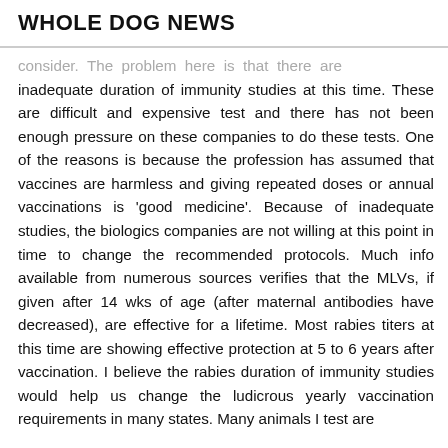WHOLE DOG NEWS
consider. The problem here is that there are inadequate duration of immunity studies at this time. These are difficult and expensive test and there has not been enough pressure on these companies to do these tests. One of the reasons is because the profession has assumed that vaccines are harmless and giving repeated doses or annual vaccinations is 'good medicine'. Because of inadequate studies, the biologics companies are not willing at this point in time to change the recommended protocols. Much info available from numerous sources verifies that the MLVs, if given after 14 wks of age (after maternal antibodies have decreased), are effective for a lifetime. Most rabies titers at this time are showing effective protection at 5 to 6 years after vaccination. I believe the rabies duration of immunity studies would help us change the ludicrous yearly vaccination requirements in many states. Many animals I test are